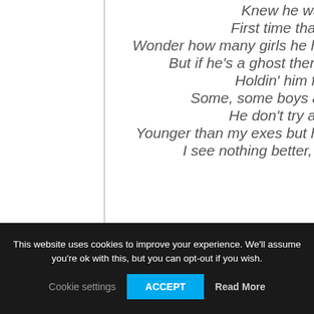Knew he was a killer
First time that I saw him
Wonder how many girls he had loved and left haunted
But if he's a ghost then I can be a phantom
Holdin' him for ransom
Some, some boys are tryin' too hard
He don't try at all though
Younger than my exes but he act like such a man, so
I see nothing better, I keep him forever
This website uses cookies to improve your experience. We'll assume you're ok with this, but you can opt-out if you wish.
Cookie settings   ACCEPT   Read More